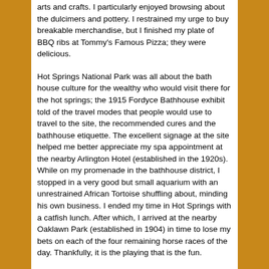arts and crafts. I particularly enjoyed browsing about the dulcimers and pottery. I restrained my urge to buy breakable merchandise, but I finished my plate of BBQ ribs at Tommy's Famous Pizza; they were delicious.
Hot Springs National Park was all about the bath house culture for the wealthy who would visit there for the hot springs; the 1915 Fordyce Bathhouse exhibit told of the travel modes that people would use to travel to the site, the recommended cures and the bathhouse etiquette. The excellent signage at the site helped me better appreciate my spa appointment at the nearby Arlington Hotel (established in the 1920s). While on my promenade in the bathhouse district, I stopped in a very good but small aquarium with an unrestrained African Tortoise shuffling about, minding his own business. I ended my time in Hot Springs with a catfish lunch. After which, I arrived at the nearby Oaklawn Park (established in 1904) in time to lose my bets on each of the four remaining horse races of the day. Thankfully, it is the playing that is the fun.